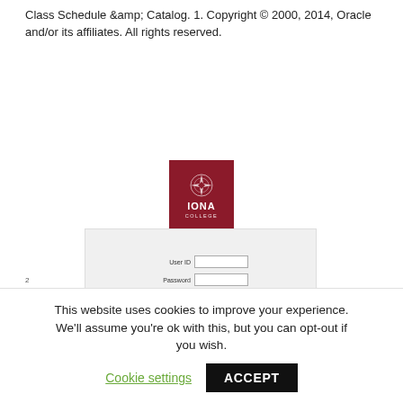Class Schedule &amp; Catalog. 1. Copyright © 2000, 2014, Oracle and/or its affiliates. All rights reserved.
[Figure (screenshot): Iona College login page screenshot showing the Iona College logo (dark red/maroon with compass rose icon), a login form with User ID and Password fields and a Sign In button, a 'Forgot your password?' link, and 'Guest access to view Class Schedule & Catalog' text with a gray box below.]
2
This website uses cookies to improve your experience. We'll assume you're ok with this, but you can opt-out if you wish. Cookie settings ACCEPT